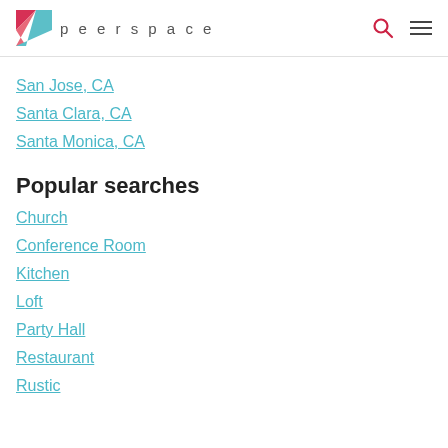peerspace
San Jose, CA
Santa Clara, CA
Santa Monica, CA
Popular searches
Church
Conference Room
Kitchen
Loft
Party Hall
Restaurant
Rustic